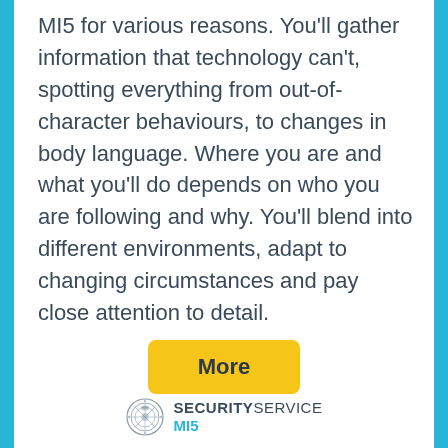MI5 for various reasons. You'll gather information that technology can't, spotting everything from out-of-character behaviours, to changes in body language. Where you are and what you'll do depends on who you are following and why. You'll blend into different environments, adapt to changing circumstances and pay close attention to detail.
[Figure (other): Yellow 'More' button]
[Figure (logo): Security Service MI5 logo with circular crest emblem]